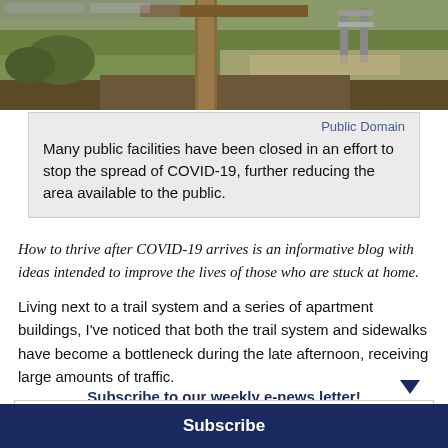[Figure (photo): Outdoor photo showing a grassy area with a wooden utility pole, path or trail, and some structures in the background]
Public Domain
Many public facilities have been closed in an effort to stop the spread of COVID-19, further reducing the area available to the public.
How to thrive after COVID-19 arrives is an informative blog with ideas intended to improve the lives of those who are stuck at home.
Living next to a trail system and a series of apartment buildings, I've noticed that both the trail system and sidewalks have become a bottleneck during the late afternoon, receiving large amounts of traffic.
Subscribe to our weekly e-news letter!
Your email address..
Subscribe